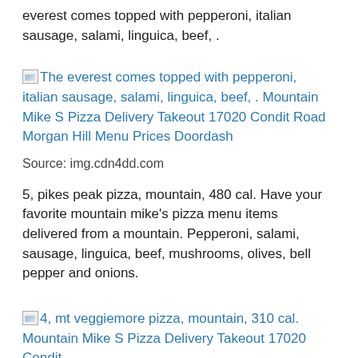everest comes topped with pepperoni, italian sausage, salami, linguica, beef, .
[Figure (other): Broken image link: The everest comes topped with pepperoni, italian sausage, salami, linguica, beef, . Mountain Mike S Pizza Delivery Takeout 17020 Condit Road Morgan Hill Menu Prices Doordash]
Source: img.cdn4dd.com
5, pikes peak pizza, mountain, 480 cal. Have your favorite mountain mike's pizza menu items delivered from a mountain. Pepperoni, salami, sausage, linguica, beef, mushrooms, olives, bell pepper and onions.
[Figure (other): Broken image link: 4, mt veggiemore pizza, mountain, 310 cal. Mountain Mike S Pizza Delivery Takeout 17020 Condit]